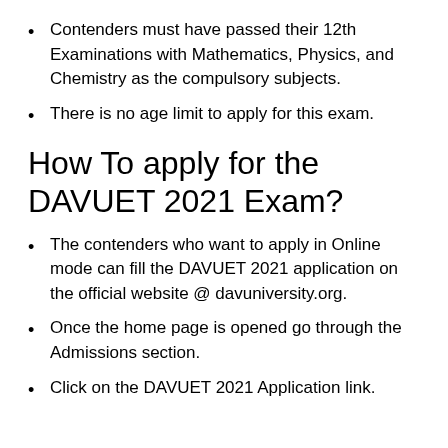Contenders must have passed their 12th Examinations with Mathematics, Physics, and Chemistry as the compulsory subjects.
There is no age limit to apply for this exam.
How To apply for the DAVUET 2021 Exam?
The contenders who want to apply in Online mode can fill the DAVUET 2021 application on the official website @ davuniversity.org.
Once the home page is opened go through the Admissions section.
Click on the DAVUET 2021 Application link.